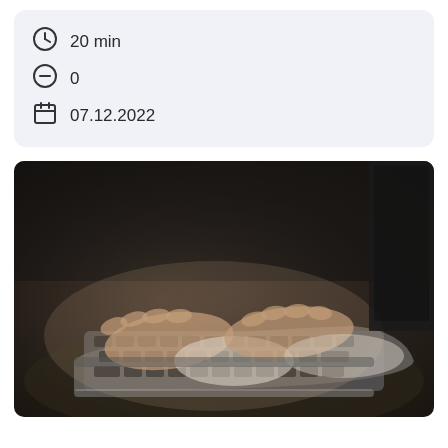20 min
0
07.12.2022
[Figure (photo): Close-up photo of hands typing on a laptop keyboard, person wearing a white knit sweater, dark background, laptop screen visible at top right.]